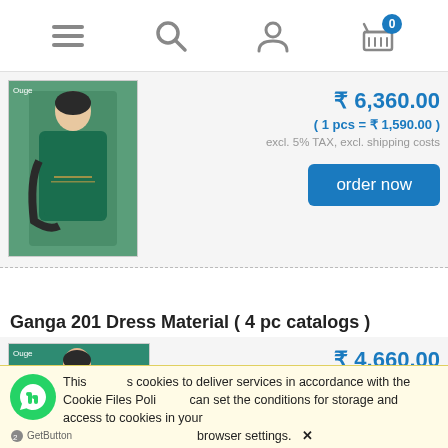Navigation header with menu, search, account, and cart (0) icons
[Figure (photo): Woman wearing teal/green embroidered salwar kameez suit with dupatta]
₹ 6,360.00
( 1 pcs = ₹ 1,590.00 )
excl. 5% TAX, excl. shipping costs
order now
Ganga 201 Dress Material ( 4 pc catalogs )
[Figure (photo): Woman wearing pink/red kurta suit against teal background]
₹ 4,660.00
( 1 pcs = ₹ 1,165.00 )
excl. 5% TAX, excl. shipping costs
This site uses cookies to deliver services in accordance with the Cookie Files Policy. You can set the conditions for storage and access to cookies in your browser settings. ✕